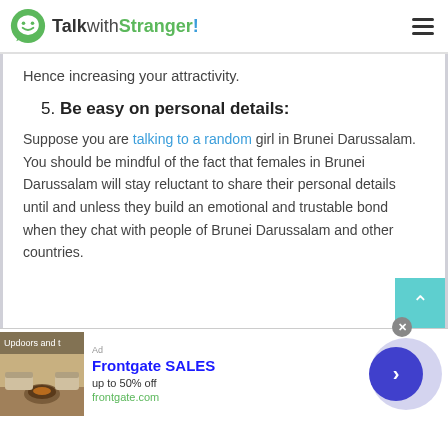TalkwithStranger!
Hence increasing your attractivity.
5. Be easy on personal details:
Suppose you are talking to a random girl in Brunei Darussalam. You should be mindful of the fact that females in Brunei Darussalam will stay reluctant to share their personal details until and unless they build an emotional and trustable bond when they chat with people of Brunei Darussalam and other countries.
[Figure (screenshot): Frontgate SALES advertisement banner with outdoor furniture image, 'up to 50% off', frontgate.com URL, and a navigation arrow button]